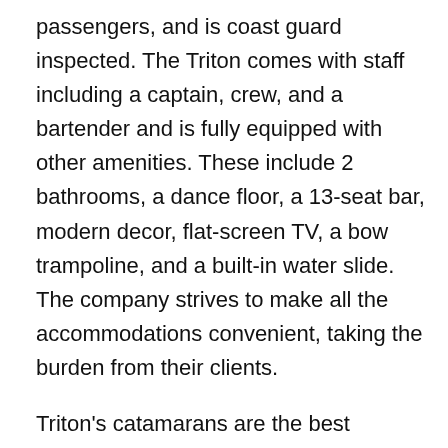passengers, and is coast guard inspected. The Triton comes with staff including a captain, crew, and a bartender and is fully equipped with other amenities. These include 2 bathrooms, a dance floor, a 13-seat bar, modern decor, flat-screen TV, a bow trampoline, and a built-in water slide. The company strives to make all the accommodations convenient, taking the burden from their clients.
Triton's catamarans are the best choices as they have exceptional features compared to monohull boats. They offer a lot of space, making them a perfect choice for groups. The shallow drafts enable them to access areas of the bay that are too shallow for most boats. They also offer more stability with less rocking